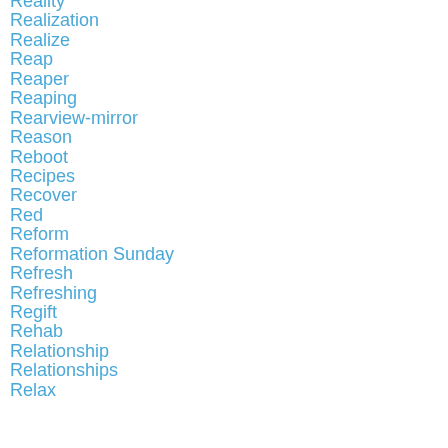Reality
Realization
Realize
Reap
Reaper
Reaping
Rearview-mirror
Reason
Reboot
Recipes
Recover
Red
Reform
Reformation Sunday
Refresh
Refreshing
Regift
Rehab
Relationship
Relationships
Relax